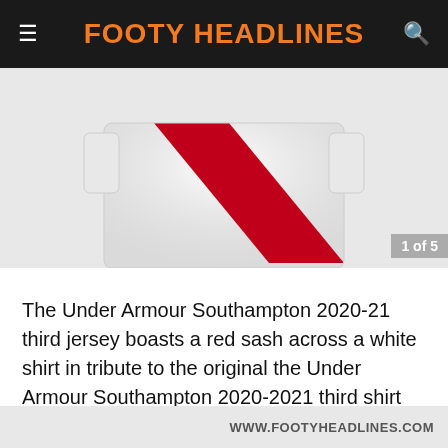FOOTY HEADLINES
[Figure (photo): Partial view of white football jersey with red sash design from Under Armour Southampton 2020-21 third kit]
The Under Armour Southampton 2020-21 third jersey boasts a red sash across a white shirt in tribute to the original the Under Armour Southampton 2020-2021 third shirt when players would wear a physical sash over their shirt, placed over either shoulder.
WWW.FOOTYHEADLINES.COM